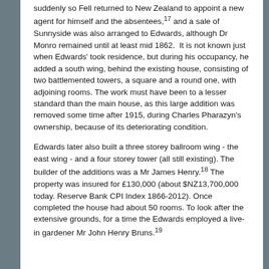suddenly so Fell returned to New Zealand to appoint a new agent for himself and the absentees,17 and a sale of Sunnyside was also arranged to Edwards, although Dr Monro remained until at least mid 1862.  It is not known just when Edwards' took residence, but during his occupancy, he added a south wing, behind the existing house, consisting of two battlemented towers, a square and a round one, with adjoining rooms. The work must have been to a lesser standard than the main house, as this large addition was removed some time after 1915, during Charles Pharazyn's ownership, because of its deteriorating condition.
Edwards later also built a three storey ballroom wing - the east wing - and a four storey tower (all still existing). The builder of the additions was a Mr James Henry.18 The property was insured for £130,000 (about $NZ13,700,000 today. Reserve Bank CPI Index 1866-2012). Once completed the house had about 50 rooms. To look after the extensive grounds, for a time the Edwards employed a live-in gardener Mr John Henry Bruns.19